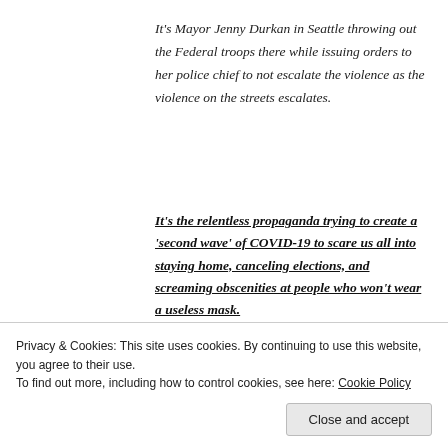It's Mayor Jenny Durkan in Seattle throwing out the Federal troops there while issuing orders to her police chief to not escalate the violence as the violence on the streets escalates.
It's the relentless propaganda trying to create a 'second wave' of COVID-19 to scare us all into staying home, canceling elections, and screaming obscenities at people who won't wear a useless mask.
Privacy & Cookies: This site uses cookies. By continuing to use this website, you agree to their use.
To find out more, including how to control cookies, see here: Cookie Policy
Close and accept